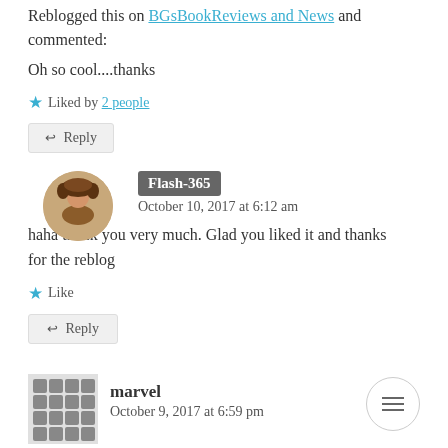Reblogged this on BGsBookReviews and News and commented:
Oh so cool....thanks
Liked by 2 people
Reply
Flash-365
October 10, 2017 at 6:12 am
haha thank you very much. Glad you liked it and thanks for the reblog
Like
Reply
marvel
October 9, 2017 at 6:59 pm